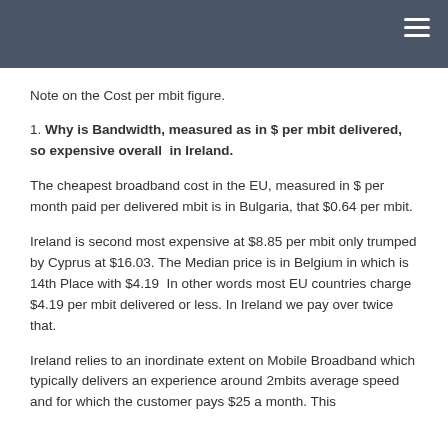Note on the Cost per mbit figure.
1. Why is Bandwidth, measured as in $ per mbit delivered, so expensive overall in Ireland.
The cheapest broadband cost in the EU, measured in $ per month paid per delivered mbit is in Bulgaria, that $0.64 per mbit.
Ireland is second most expensive at $8.85 per mbit only trumped by Cyprus at $16.03. The Median price is in Belgium in which is 14th Place with $4.19  In other words most EU countries charge $4.19 per mbit delivered or less. In Ireland we pay over twice that.
Ireland relies to an inordinate extent on Mobile Broadband which typically delivers an experience around 2mbits average speed and for which the customer pays $25 a month. This